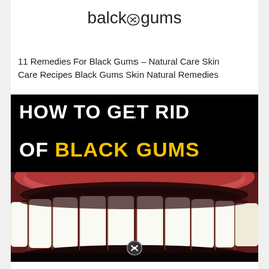balck gums
11 Remedies For Black Gums – Natural Care Skin Care Recipes Black Gums Skin Natural Remedies
[Figure (infographic): Promotional health infographic with black background showing white bold text 'HOW TO GET RID OF' and yellow bold text 'BLACK GUMS', with a close-up photo of teeth showing black/dark gums, and a close button at the bottom]